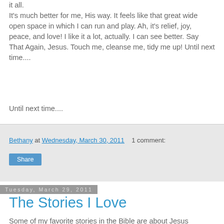it all.
It's much better for me, His way. It feels like that great wide open space in which I can run and play. Ah, it's relief, joy, peace, and love! I like it a lot, actually. I can see better. Say That Again, Jesus. Touch me, cleanse me, tidy me up! Until next time....
Until next time....
Bethany at Wednesday, March 30, 2011   1 comment:
Share
Tuesday, March 29, 2011
The Stories I Love
Some of my favorite stories in the Bible are about Jesus